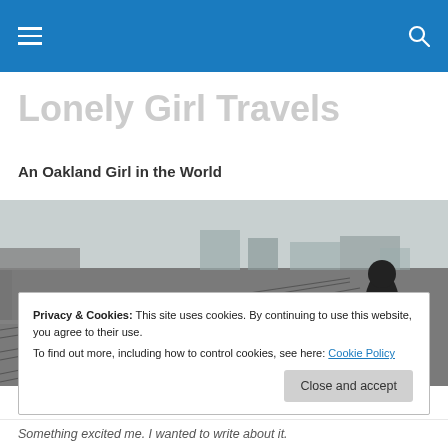Lonely Girl Travels — navigation bar with menu and search icons
Lonely Girl Travels
An Oakland Girl in the World
[Figure (photo): Black and white photograph of a person walking across railway tracks at an urban rail yard, with city infrastructure visible in the background.]
Privacy & Cookies: This site uses cookies. By continuing to use this website, you agree to their use.
To find out more, including how to control cookies, see here: Cookie Policy
[Close and accept button]
Something excited me. I wanted to write about it.